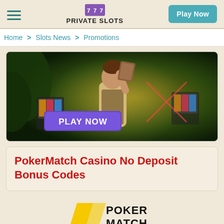PRIVATE SLOTS | Play Now
Home > Slots News > Promotions
[Figure (screenshot): Casino game promotional banner with a man in explorer outfit holding a book, slot machines in background, with a purple 'PLAY NOW' button on dark jungle background]
PokerMatch Casino No Deposit Bonus Codes
[Figure (logo): PokerMatch logo — yellow parallelogram shape with POKER MATCH text in bold black]